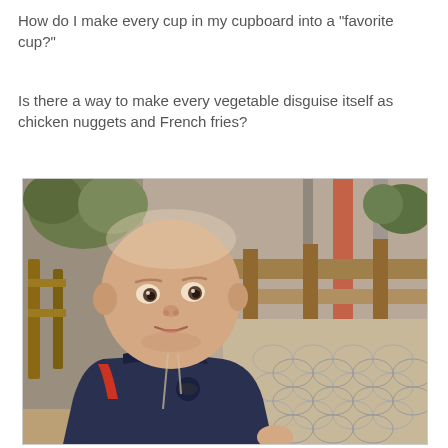How do I make every cup in my cupboard into a "favorite cup?"
Is there a way to make every vegetable disguise itself as chicken nuggets and French fries?
[Figure (photo): A toddler with a shaved head wearing a dark zip-up hoodie, sitting in a restaurant or cafeteria setting with tiled floors, plants, and wooden furniture in the background. The child is looking at the camera with a curious/skeptical expression.]